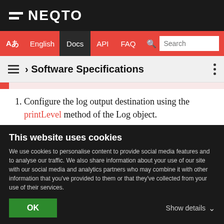NEQTO
Aあ English | Docs | API | FAQ | Search
› Software Specifications
Configure the log output destination using the printLevel method of the Log object.
Add the following code to the script of the target node.
This website uses cookies
We use cookies to personalise content to provide social media features and to analyse our traffic. We also share information about your use of our site with our social media and analytics partners who may combine it with other information that you've provided to them or that they've collected from your use of their services.
OK
Show details